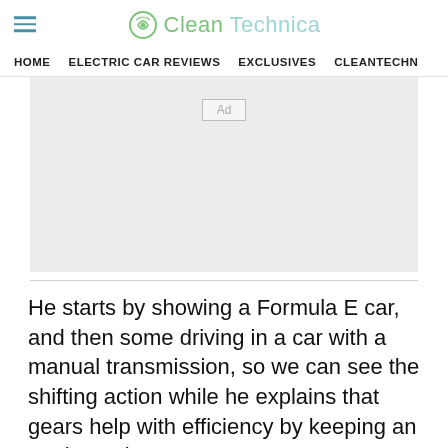CleanTechnica
HOME   ELECTRIC CAR REVIEWS   EXCLUSIVES   CLEANTECHN
[Figure (other): Advertisement placeholder block with 'Ad' label]
He starts by showing a Formula E car, and then some driving in a car with a manual transmission, so we can see the shifting action while he explains that gears help with efficiency by keeping an engine at its most